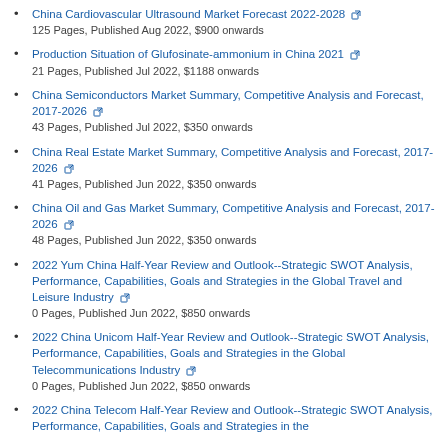China Cardiovascular Ultrasound Market Forecast 2022-2028
125 Pages, Published Aug 2022, $900 onwards
Production Situation of Glufosinate-ammonium in China 2021
21 Pages, Published Jul 2022, $1188 onwards
China Semiconductors Market Summary, Competitive Analysis and Forecast, 2017-2026
43 Pages, Published Jul 2022, $350 onwards
China Real Estate Market Summary, Competitive Analysis and Forecast, 2017-2026
41 Pages, Published Jun 2022, $350 onwards
China Oil and Gas Market Summary, Competitive Analysis and Forecast, 2017-2026
48 Pages, Published Jun 2022, $350 onwards
2022 Yum China Half-Year Review and Outlook--Strategic SWOT Analysis, Performance, Capabilities, Goals and Strategies in the Global Travel and Leisure Industry
0 Pages, Published Jun 2022, $850 onwards
2022 China Unicom Half-Year Review and Outlook--Strategic SWOT Analysis, Performance, Capabilities, Goals and Strategies in the Global Telecommunications Industry
0 Pages, Published Jun 2022, $850 onwards
2022 China Telecom Half-Year Review and Outlook--Strategic SWOT Analysis, Performance, Capabilities, Goals and Strategies in the...